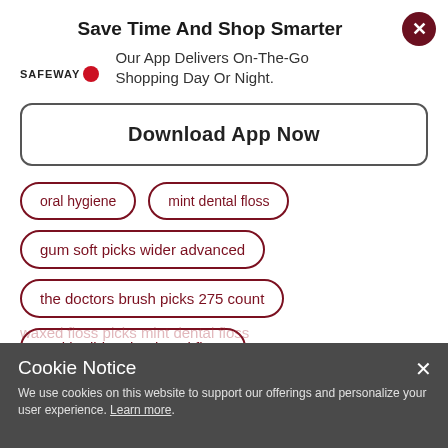Save Time And Shop Smarter
Our App Delivers On-The-Go Shopping Day Or Night.
Download App Now
oral hygiene
mint dental floss
gum soft picks wider advanced
the doctors brush picks 275 count
oral b glide mint dental floss
Cookie Notice
We use cookies on this website to support our offerings and personalize your user experience. Learn more.